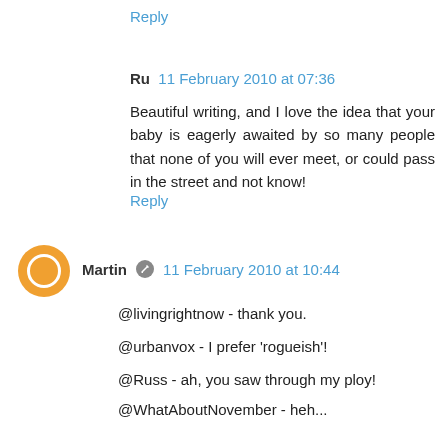Reply
Ru  11 February 2010 at 07:36
Beautiful writing, and I love the idea that your baby is eagerly awaited by so many people that none of you will ever meet, or could pass in the street and not know!
Reply
Martin  11 February 2010 at 10:44
@livingrightnow - thank you.
@urbanvox - I prefer 'rogueish'!
@Russ - ah, you saw through my ploy!
@WhatAboutNovember - heh...
@Jo - You've mentioned that before. Half a dozen times. Is there a Santa Claus?